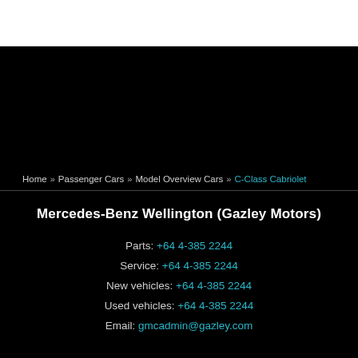[Figure (other): White top bar area (logo/header image area)]
Home » Passenger Cars » Model Overview Cars » C-Class Cabriolet
Mercedes-Benz Wellington (Gazley Motors)
Parts: +64 4-385 2244
Service: +64 4-385 2244
New vehicles: +64 4-385 2244
Used vehicles: +64 4-385 2244
Email: gmcadmin@gazley.com